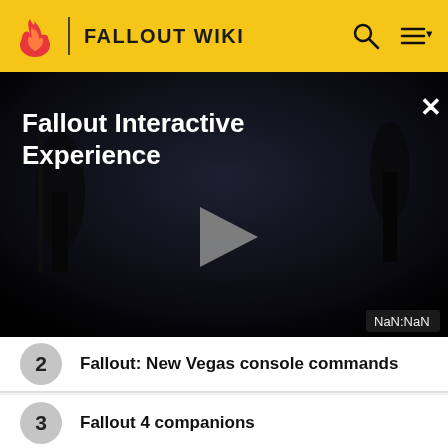FALLOUT WIKI
[Figure (screenshot): Video player showing 'Fallout Interactive Experience' title on a dark post-apocalyptic background with a play button in the center and NaN:NaN timestamp in the bottom right, with a close (X) button in the top right corner.]
2  Fallout: New Vegas console commands
3  Fallout 4 companions